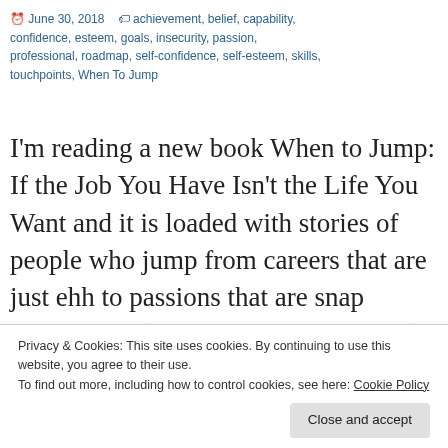🕐 June 30, 2018  🏷 achievement, belief, capability, confidence, esteem, goals, insecurity, passion, professional, roadmap, self-confidence, self-esteem, skills, touchpoints, When To Jump
I'm reading a new book When to Jump: If the Job You Have Isn't the Life You Want and it is loaded with stories of people who jump from careers that are just ehh to passions that are snap crackle pop (great metaphor, I know!). I've only gotten through the first section of the book, which focuses on...
Privacy & Cookies: This site uses cookies. By continuing to use this website, you agree to their use.
To find out more, including how to control cookies, see here: Cookie Policy
[Close and accept]